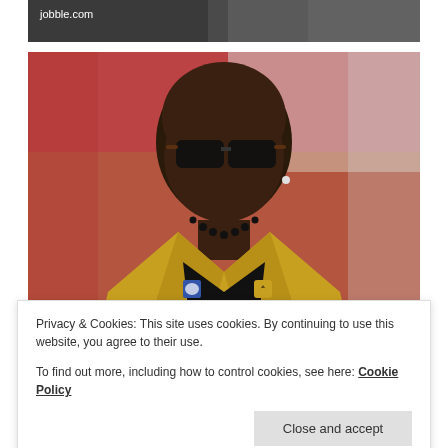[Figure (photo): Top banner photo strip showing partial image with jobble.com watermark text, dark background]
[Figure (photo): Portrait photo of a bald Black man wearing dark sunglasses and a gold/tan blazer with a black necklace, looking upward to the left against a blurred red/white background]
Privacy & Cookies: This site uses cookies. By continuing to use this website, you agree to their use.
To find out more, including how to control cookies, see here: Cookie Policy
Close and accept
Share: